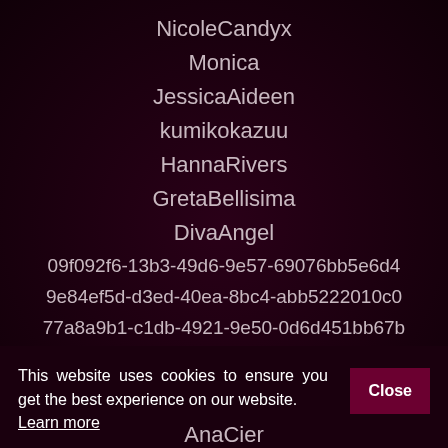NicoleCandyx
Monica
JessicaAideen
kumikokazuu
HannaRivers
GretaBellisima
DivaAngel
09f092f6-13b3-49d6-9e57-69076bb5e6d4
9e84ef5d-d3ed-40ea-8bc4-abb5222010c0
77a8a9b1-c1db-4921-9e50-0d6d451bb67b
This website uses cookies to ensure you get the best experience on our website. Learn more
AnaCier